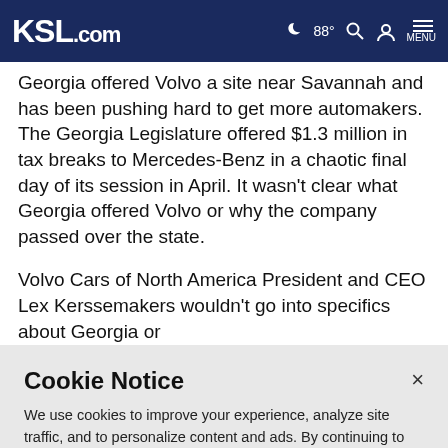KSL.com — 88° [weather/search/account/menu icons]
Georgia offered Volvo a site near Savannah and has been pushing hard to get more automakers. The Georgia Legislature offered $1.3 million in tax breaks to Mercedes-Benz in a chaotic final day of its session in April. It wasn't clear what Georgia offered Volvo or why the company passed over the state.
Volvo Cars of North America President and CEO Lex Kerssemakers wouldn't go into specifics about Georgia or
Cookie Notice
We use cookies to improve your experience, analyze site traffic, and to personalize content and ads. By continuing to use our site, you consent to our use of cookies. Please visit our Terms of Use and Privacy Policy for more information.
Continue